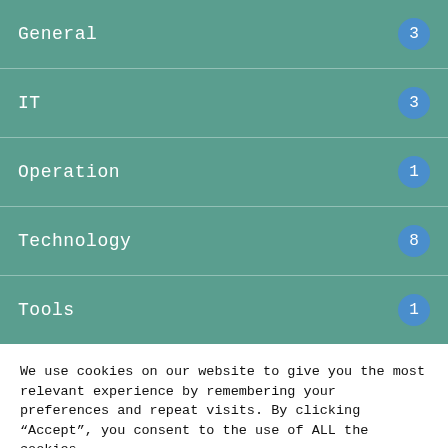General 3
IT 3
Operation 1
Technology 8
Tools 1
We use cookies on our website to give you the most relevant experience by remembering your preferences and repeat visits. By clicking “Accept”, you consent to the use of ALL the cookies.
Do not sell my personal information.
Cookie settings | ACCEPT